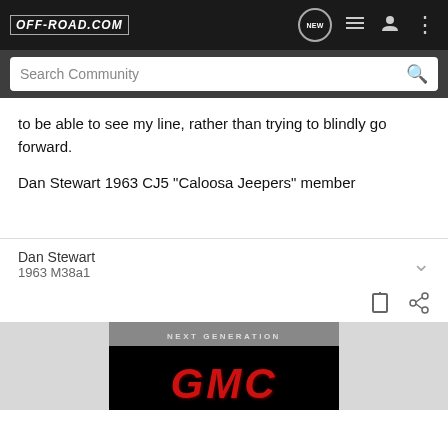OFF-ROAD.COM
to be able to see my line, rather than trying to blindly go forward.
Dan Stewart 1963 CJ5 "Caloosa Jeepers" member
Dan Stewart
1963 M38a1
[Figure (logo): GMC Next Generation advertisement banner with GMC logo in red on black background]